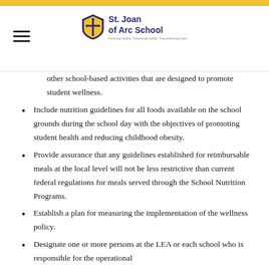St. Joan of Arc School
other school-based activities that are designed to promote student wellness.
Include nutrition guidelines for all foods available on the school grounds during the school day with the objectives of promoting student health and reducing childhood obesity.
Provide assurance that any guidelines established for reimbursable meals at the local level will not be less restrictive than current federal regulations for meals served through the School Nutrition Programs.
Establish a plan for measuring the implementation of the wellness policy.
Designate one or more persons at the LEA or each school who is responsible for the operational